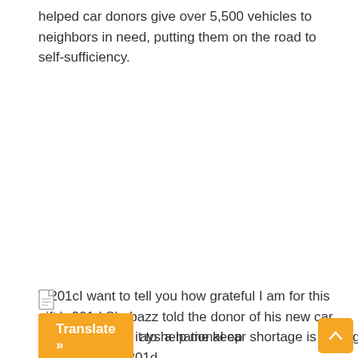helped car donors give over 5,500 vehicles to neighbors in need, putting them on the road to self-sufficiency.
“I want to tell you how grateful I am for this gift,” Shabazz told the donor of his new car. “I will use it to help me keep employment.”
[Figure (other): Document/file icon]
ays a national car shortage is driving up the